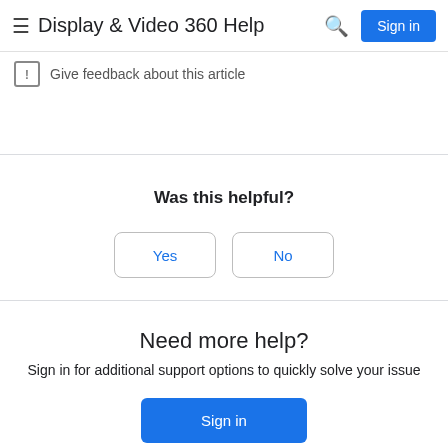Display & Video 360 Help
Give feedback about this article
Was this helpful?
Yes
No
Need more help?
Sign in for additional support options to quickly solve your issue
Sign in